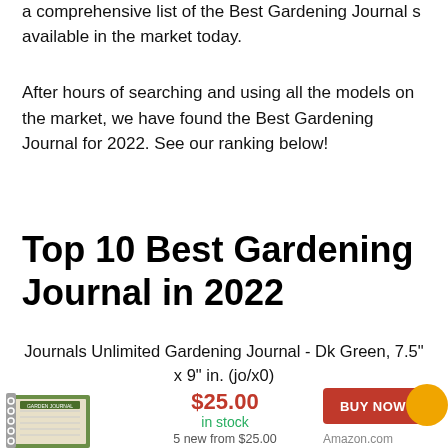a comprehensive list of the Best Gardening Journal s available in the market today.
After hours of searching and using all the models on the market, we have found the Best Gardening Journal for 2022. See our ranking below!
Top 10 Best Gardening Journal in 2022
Journals Unlimited Gardening Journal - Dk Green, 7.5" x 9" in. (jo/x0)
[Figure (photo): Product image of a green gardening journal notebook]
$25.00
in stock
5 new from $25.00
BUY NOW
Amazon.com